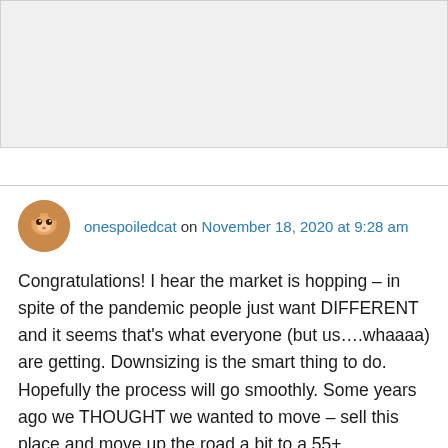[Figure (photo): Gray placeholder box at top of page]
onespoiledcat on November 18, 2020 at 9:28 am
Congratulations! I hear the market is hopping – in spite of the pandemic people just want DIFFERENT and it seems that's what everyone (but us….whaaaa) are getting. Downsizing is the smart thing to do. Hopefully the process will go smoothly. Some years ago we THOUGHT we wanted to move – sell this place and move up the road a bit to a 55+ neighborhood. Our house sold before it was even on the market officially so I will WISH THAT FOR YOU! We changed our mind in the end and stayed here – you are doing